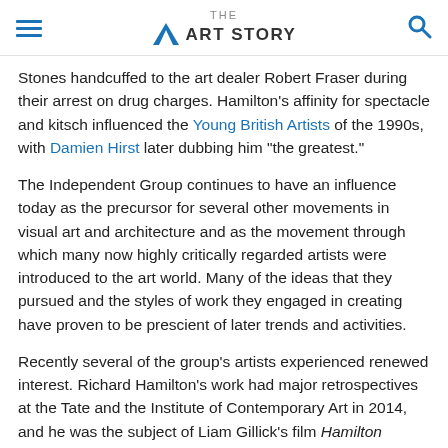THE ART STORY
Stones handcuffed to the art dealer Robert Fraser during their arrest on drug charges. Hamilton's affinity for spectacle and kitsch influenced the Young British Artists of the 1990s, with Damien Hirst later dubbing him "the greatest."
The Independent Group continues to have an influence today as the precursor for several other movements in visual art and architecture and as the movement through which many now highly critically regarded artists were introduced to the art world. Many of the ideas that they pursued and the styles of work they engaged in creating have proven to be prescient of later trends and activities.
Recently several of the group's artists experienced renewed interest. Richard Hamilton's work had major retrospectives at the Tate and the Institute of Contemporary Art in 2014, and he was the subject of Liam Gillick's film Hamilton